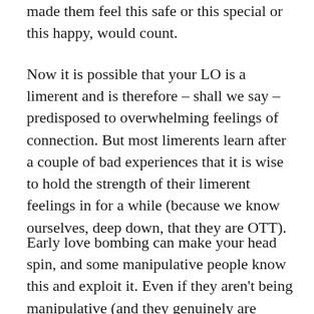made them feel this safe or this special or this happy, would count.
Now it is possible that your LO is a limerent and is therefore – shall we say – predisposed to overwhelming feelings of connection. But most limerents learn after a couple of bad experiences that it is wise to hold the strength of their limerent feelings in for a while (because we know ourselves, deep down, that they are OTT).
Early love bombing can make your head spin, and some manipulative people know this and exploit it. Even if they aren't being manipulative (and they genuinely are crazy for you), people who lack the self-awareness to moderate their